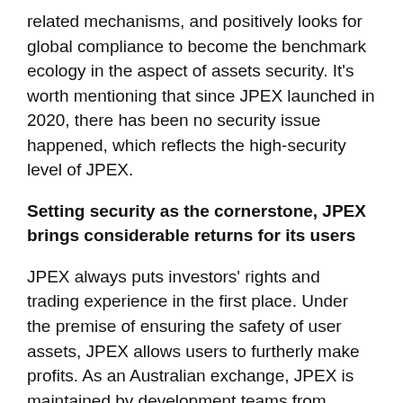related mechanisms, and positively looks for global compliance to become the benchmark ecology in the aspect of assets security. It's worth mentioning that since JPEX launched in 2020, there has been no security issue happened, which reflects the high-security level of JPEX.
Setting security as the cornerstone, JPEX brings considerable returns for its users
JPEX always puts investors' rights and trading experience in the first place. Under the premise of ensuring the safety of user assets, JPEX allows users to furtherly make profits. As an Australian exchange, JPEX is maintained by development teams from Japan, Australia, and the United States. Therefore, JPEX itself has an excellent risk control mechanism and provides safe and reliable service to its users via its own technology.